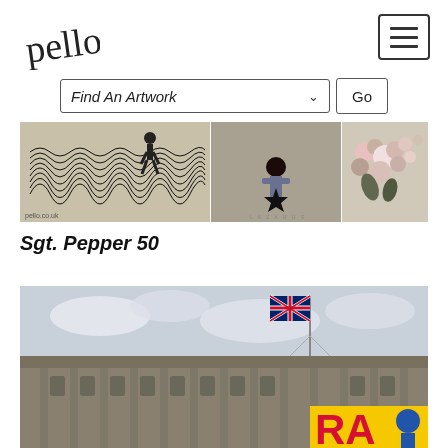[Figure (logo): Pello cursive handwritten logo in top left]
[Figure (other): Hamburger menu icon button with three horizontal lines in a bordered box, top right]
[Figure (other): Search dropdown bar labeled 'Find An Artwork' with a 'Go' button]
[Figure (photo): Horizontal banner strip showing three album cover artwork inspired photos: left shows black-and-white textured pattern with a figure, center shows person lying on ground with a black star, right shows flowers]
Sgt. Pepper 50
[Figure (photo): Photo of a neoclassical building facade with a British flag flying on a flagpole; a colorful banner reading 'RA' partially visible at bottom right]